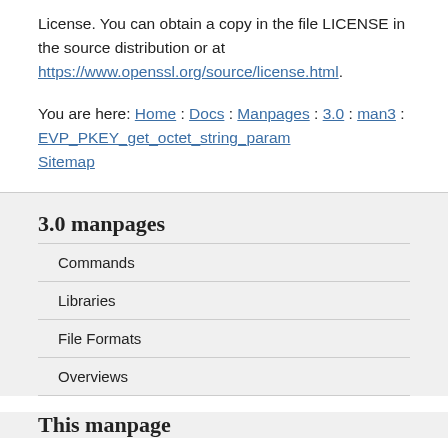License. You can obtain a copy in the file LICENSE in the source distribution or at https://www.openssl.org/source/license.html.
You are here: Home : Docs : Manpages : 3.0 : man3 : EVP_PKEY_get_octet_string_param Sitemap
3.0 manpages
Commands
Libraries
File Formats
Overviews
This manpage